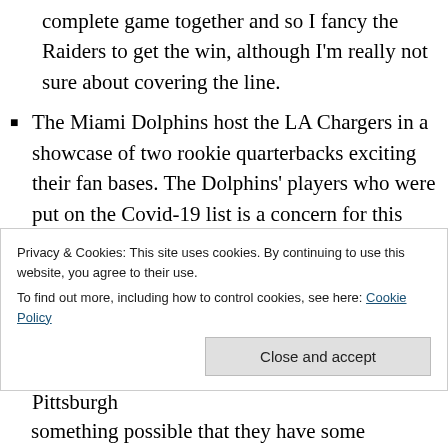complete game together and so I fancy the Raiders to get the win, although I'm really not sure about covering the line.
The Miami Dolphins host the LA Chargers in a showcase of two rookie quarterbacks exciting their fan bases. The Dolphins' players who were put on the Covid-19 list is a concern for this game, but at this point I will believe the Chargers will win consistently only when they prove it, but that doesn't mean they can't get a third win this week.
I don't know if the Cincinnati Bengals visit to Pittsburgh
Privacy & Cookies: This site uses cookies. By continuing to use this website, you agree to their use. To find out more, including how to control cookies, see here: Cookie Policy
Close and accept
something possible that they have some